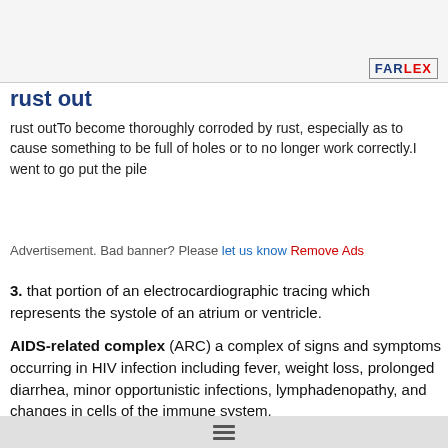[Figure (other): Decorative header image area with Farlex logo]
rust out
rust outTo become thoroughly corroded by rust, especially as to cause something to be full of holes or to no longer work correctly.I went to go put the pile
Advertisement. Bad banner? Please let us know Remove Ads
3. that portion of an electrocardiographic tracing which represents the systole of an atrium or ventricle.
AIDS-related complex (ARC) a complex of signs and symptoms occurring in HIV infection including fever, weight loss, prolonged diarrhea, minor opportunistic infections, lymphadenopathy, and changes in cells of the immune system.
antigen-antibody complex here the complex formed by the noncovalent binding of an antibody and antigen. Complexes of antibodies belonging to certain immunoglobulin classes may activate complement. Called also immune complex.
anti-inhibitor coagulant complex (AICC) a concentrated fraction from pooled human plasma, which includes various coagulation factors. It is